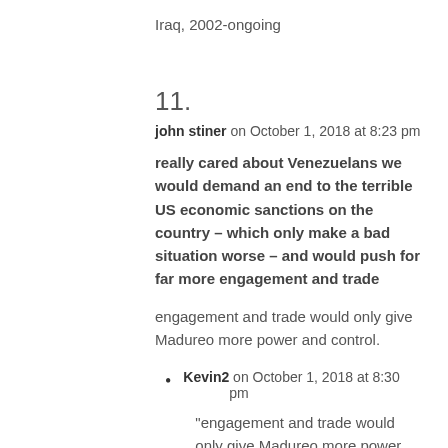Iraq, 2002-ongoing
11.
john stiner on October 1, 2018 at 8:23 pm
really cared about Venezuelans we would demand an end to the terrible US economic sanctions on the country – which only make a bad situation worse – and would push for far more engagement and trade
engagement and trade would only give Madureo more power and control.
Kevin2 on October 1, 2018 at 8:30 pm
“engagement and trade would only give Madureo more power and control”
Thanks for admitting that the US has impoverished